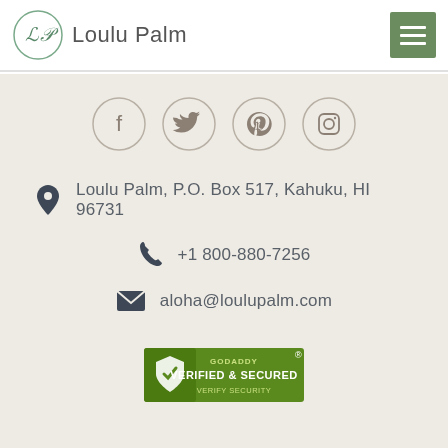[Figure (logo): Loulu Palm logo with decorative LP monogram and text 'Loulu Palm']
[Figure (infographic): Social media icons in circles: Facebook, Twitter, Pinterest, Instagram]
Loulu Palm, P.O. Box 517, Kahuku, HI 96731
+1 800-880-7256
aloha@loulupalm.com
[Figure (logo): GoDaddy Verified & Secured badge with shield icon and 'VERIFY SECURITY' text]